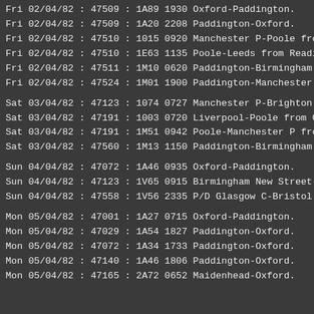Fri 02/04/82 : 47509 : 1A89 1930 Oxford-Paddington.
Fri 02/04/82 : 47509 : 1A20 2208 Paddington-Oxford.
Fri 02/04/82 : 47510 : 1015 0920 Manchester P-Poole from
Fri 02/04/82 : 47510 : 1E63 1135 Poole-Leeds from Readin
Fri 02/04/82 : 47511 : 1M10 0620 Paddington-Birmingham N
Fri 02/04/82 : 47524 : 1M01 1900 Paddington-Manchester P
Sat 03/04/82 : 47123 : 1074 0727 Manchester P-Brighton f
Sat 03/04/82 : 47191 : 1003 0720 Liverpool-Poole from Co
Sat 03/04/82 : 47191 : 1M51 0942 Poole-Manchester P from
Sat 03/04/82 : 47560 : 1M13 1150 Paddington-Birmingham N
Sun 04/04/82 : 47072 : 1A46 0935 Oxford-Paddington.
Sun 04/04/82 : 47123 : 1V65 0915 Birmingham New Street-B
Sun 04/04/82 : 47558 : 1V56 2335 P/D Glasgow C-Bristol T
Mon 05/04/82 : 47001 : 1A27 0715 Oxford-Paddington.
Mon 05/04/82 : 47029 : 1A54 1827 Paddington-Oxford.
Mon 05/04/82 : 47072 : 1A34 1733 Paddington-Oxford.
Mon 05/04/82 : 47140 : 1A46 1806 Paddington-Oxford.
Mon 05/04/82 : 47165 : 2A72 0652 Maidenhead-Oxford.